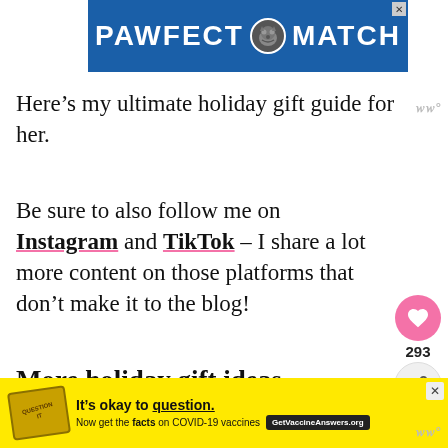[Figure (screenshot): Blue banner advertisement for 'PAWFECT MATCH' with a cat image in the center and a close button]
Here’s my ultimate holiday gift guide for her.
Be sure to also follow me on Instagram and TikTok – I share a lot more content on those platforms that don’t make it to the blog!
More holiday gift ideas
If you’re looking for more holiday tips, you
[Figure (screenshot): Yellow banner advertisement: 'It's okay to question. Now get the facts on COVID-19 vaccines' with GetVaccineAnswers.org button]